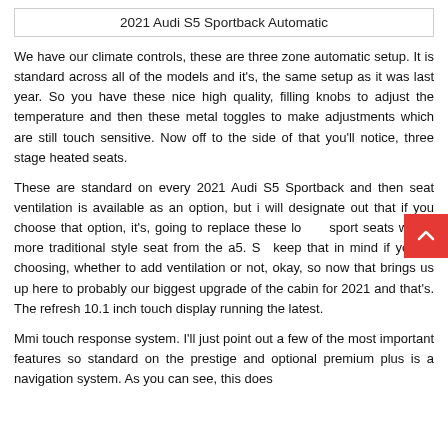2021 Audi S5 Sportback Automatic
We have our climate controls, these are three zone automatic setup. It is standard across all of the models and it's, the same setup as it was last year. So you have these nice high quality, filling knobs to adjust the temperature and then these metal toggles to make adjustments which are still touch sensitive. Now off to the side of that you'll notice, three stage heated seats.
These are standard on every 2021 Audi S5 Sportback and then seat ventilation is available as an option, but i will designate out that if you choose that option, it's, going to replace these lovely sport seats with a more traditional style seat from the a5. So keep that in mind if you're, choosing, whether to add ventilation or not, okay, so now that brings us up here to probably our biggest upgrade of the cabin for 2021 and that's. The refresh 10.1 inch touch display running the latest.
Mmi touch response system. I'll just point out a few of the most important features so standard on the prestige and optional premium plus is a navigation system. As you can see, this does